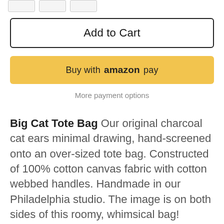[Figure (other): Three small thumbnail image placeholders at top]
Add to Cart
Buy with amazon pay
More payment options
Big Cat Tote Bag Our original charcoal cat ears minimal drawing, hand-screened onto an over-sized tote bag. Constructed of 100% cotton canvas fabric with cotton webbed handles. Handmade in our Philadelphia studio. The image is on both sides of this roomy, whimsical bag!